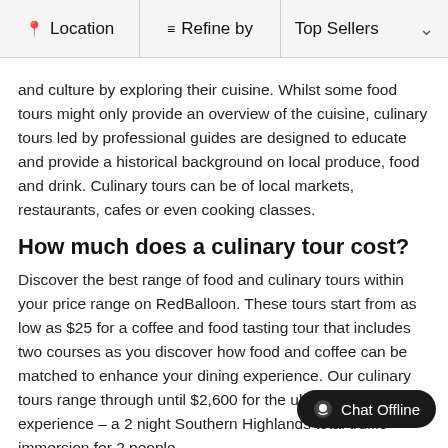Location | Refine by | Top Sellers
and culture by exploring their cuisine. Whilst some food tours might only provide an overview of the cuisine, culinary tours led by professional guides are designed to educate and provide a historical background on local produce, food and drink. Culinary tours can be of local markets, restaurants, cafes or even cooking classes.
How much does a culinary tour cost?
Discover the best range of food and culinary tours within your price range on RedBalloon. These tours start from as low as $25 for a coffee and food tasting tour that includes two courses as you discover how food and coffee can be matched to enhance your dining experience. Our culinary tours range through until $2,600 for the ultimate foodie experience – a 2 night Southern Highlands total truffle immersion for 2 people.
Wine tastings & tours
If you have...